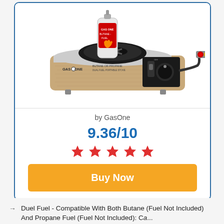[Figure (photo): Product photo of a GasOne dual fuel butane and propane portable camping stove, tan/wood-grain colored body with black burner on top and a propane hose adapter on the right side. A butane fuel canister is visible at the back.]
by GasOne
9.36/10
[Figure (other): Five red star rating icons in a row]
Buy Now
Duel Fuel - Compatible With Both Butane (Fuel Not Included) And Propane Fuel (Fuel Not Included): Ca...